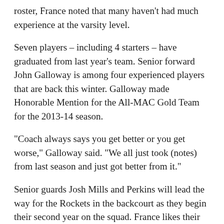roster, France noted that many haven't had much experience at the varsity level.
Seven players – including 4 starters – have graduated from last year's team. Senior forward John Galloway is among four experienced players that are back this winter. Galloway made Honorable Mention for the All-MAC Gold Team for the 2013-14 season.
“Coach always says you get better or you get worse,” Galloway said. “We all just took (notes) from last season and just got better from it.”
Senior guards Josh Mills and Perkins will lead the way for the Rockets in the backcourt as they begin their second year on the squad. France likes their speed and ability to knock down 3-pointers.
Senior forward Josh Harris (6-foot-6) is expected to be a force in the paint. The state’s reigning champ in the 110